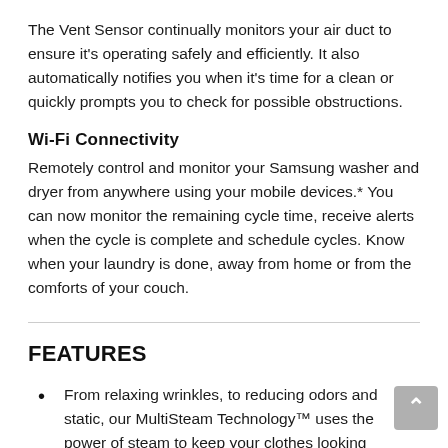The Vent Sensor continually monitors your air duct to ensure it's operating safely and efficiently. It also automatically notifies you when it's time for a clean or quickly prompts you to check for possible obstructions.
Wi-Fi Connectivity
Remotely control and monitor your Samsung washer and dryer from anywhere using your mobile devices.* You can now monitor the remaining cycle time, receive alerts when the cycle is complete and schedule cycles. Know when your laundry is done, away from home or from the comforts of your couch.
FEATURES
From relaxing wrinkles, to reducing odors and static, our MultiSteam Technology™ uses the power of steam to keep your clothes looking